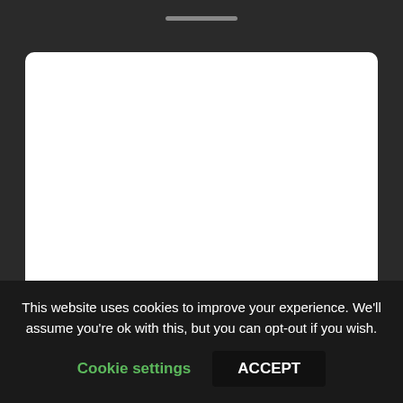[Figure (screenshot): White card/panel area showing a blank white image placeholder with rounded corners on a dark background]
Highlights from the 2019 Sundance Film
This website uses cookies to improve your experience. We'll assume you're ok with this, but you can opt-out if you wish.
Cookie settings   ACCEPT